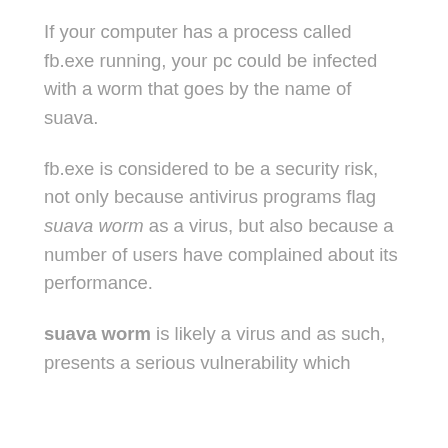If your computer has a process called fb.exe running, your pc could be infected with a worm that goes by the name of suava.
fb.exe is considered to be a security risk, not only because antivirus programs flag suava worm as a virus, but also because a number of users have complained about its performance.
suava worm is likely a virus and as such, presents a serious vulnerability which